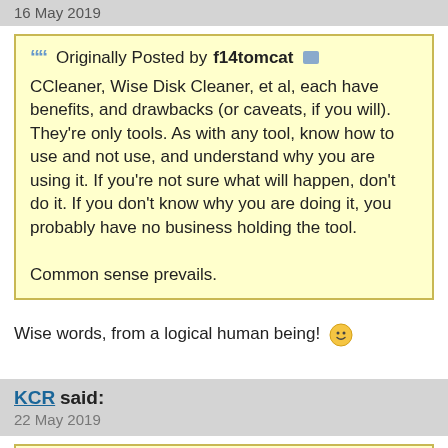16 May 2019
Originally Posted by f14tomcat
CCleaner, Wise Disk Cleaner, et al, each have benefits, and drawbacks (or caveats, if you will). They're only tools. As with any tool, know how to use and not use, and understand why you are using it. If you're not sure what will happen, don't do it. If you don't know why you are doing it, you probably have no business holding the tool.

Common sense prevails.
Wise words, from a logical human being! 🙂
KCR said:
22 May 2019
Originally Posted by swarfega
Not sure what to make of this easy clean thing.
Interesting.... the easy clean thing seems to be gone